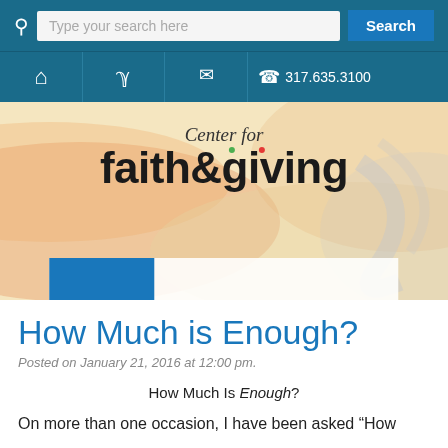Type your search here | Search
🏠 🍷 ✉ 📞 317.635.3100
[Figure (logo): Center for faith&giving logo on decorative warm-toned wavy background with tab navigation bar]
How Much is Enough?
Posted on January 21, 2016 at 12:00 pm.
How Much Is Enough?
On more than one occasion, I have been asked "How